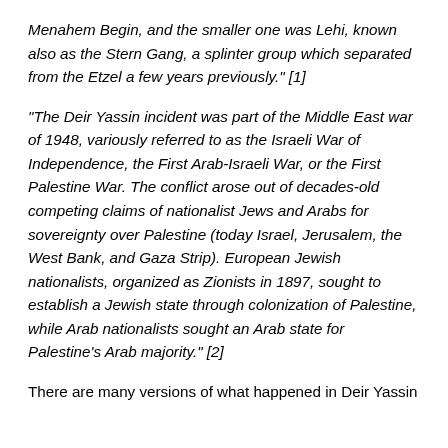Menahem Begin, and the smaller one was Lehi, known also as the Stern Gang, a splinter group which separated from the Etzel a few years previously." [1]
"The Deir Yassin incident was part of the Middle East war of 1948, variously referred to as the Israeli War of Independence, the First Arab-Israeli War, or the First Palestine War. The conflict arose out of decades-old competing claims of nationalist Jews and Arabs for sovereignty over Palestine (today Israel, Jerusalem, the West Bank, and Gaza Strip). European Jewish nationalists, organized as Zionists in 1897, sought to establish a Jewish state through colonization of Palestine, while Arab nationalists sought an Arab state for Palestine's Arab majority." [2]
There are many versions of what happened in Deir Yassin